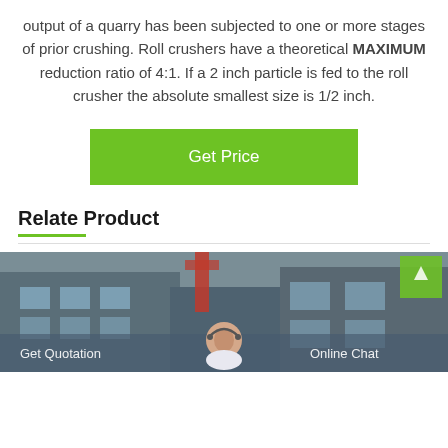output of a quarry has been subjected to one or more stages of prior crushing. Roll crushers have a theoretical MAXIMUM reduction ratio of 4:1. If a 2 inch particle is fed to the roll crusher the absolute smallest size is 1/2 inch.
[Figure (other): Green 'Get Price' button]
Relate Product
[Figure (photo): Industrial facility photo with 'Get Quotation' and 'Online Chat' overlay bar at the bottom, and a customer service representative avatar in the center]